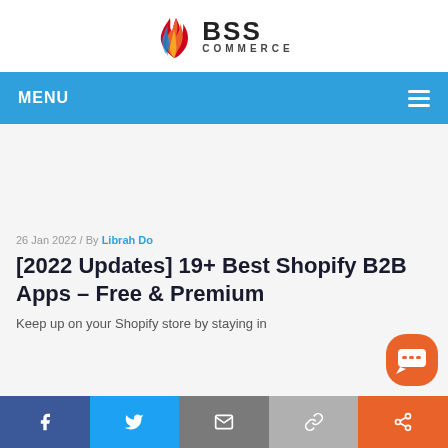[Figure (logo): BSS Commerce logo with flame icon on left and 'BSS COMMERCE' text on right]
MENU
26 Jan 2022 / By Librah Do
[2022 Updates] 19+ Best Shopify B2B Apps – Free & Premium
Keep up on your Shopify store by staying in...